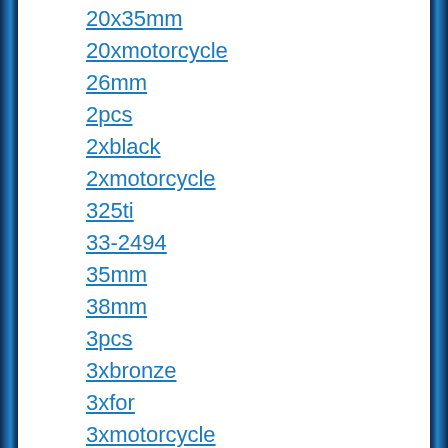20x35mm
20xmotorcycle
26mm
2pcs
2xblack
2xmotorcycle
325ti
33-2494
35mm
38mm
3pcs
3xbronze
3xfor
3xmotorcycle